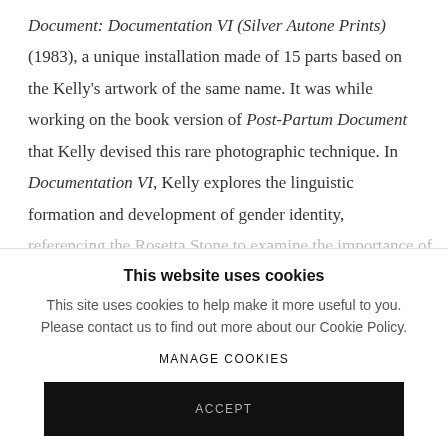Document: Documentation VI (Silver Autone Prints) (1983), a unique installation made of 15 parts based on the Kelly's artwork of the same name. It was while working on the book version of Post-Partum Document that Kelly devised this rare photographic technique. In Documentation VI, Kelly explores the linguistic formation and development of gender identity, referencing the Rosetta Stone to examine the importance of
This website uses cookies
This site uses cookies to help make it more useful to you. Please contact us to find out more about our Cookie Policy.
MANAGE COOKIES
ACCEPT